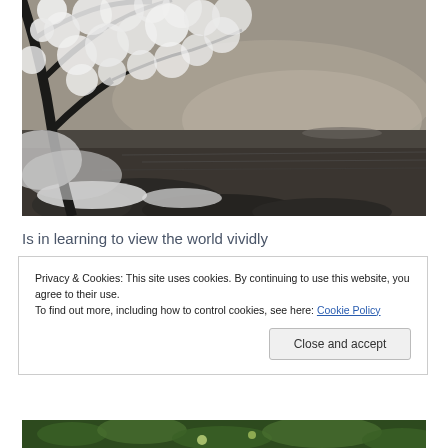[Figure (photo): Black and white infrared-style photograph of a coastal scene with a tree with white blossoms in the upper left, rocky shoreline, and ocean/sea with cloudy sky in the background.]
Is in learning to view the world vividly
Privacy & Cookies: This site uses cookies. By continuing to use this website, you agree to their use.
To find out more, including how to control cookies, see here: Cookie Policy
[Figure (photo): Partial view of green tropical foliage at the bottom of the page.]